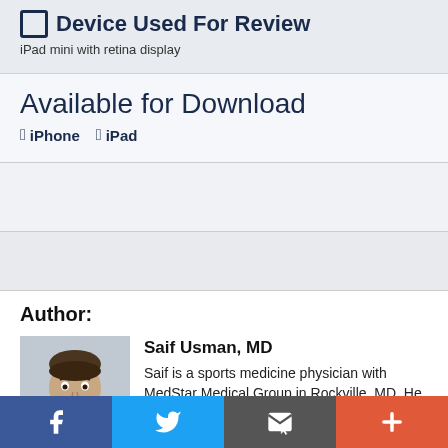Device Used For Review
iPad mini with retina display
Available for Download
iPhone  iPad
[Figure (other): Advertisement block 1]
[Figure (other): Advertisement block 2]
Author:
[Figure (photo): Headshot photo of Saif Usman, MD — a sports medicine physician]
Saif Usman, MD
Saif is a sports medicine physician with MedStar Medical Group in Rockville, MD. He has a strong interest in clinical research,
Social sharing bar: Facebook, Twitter, Email, More